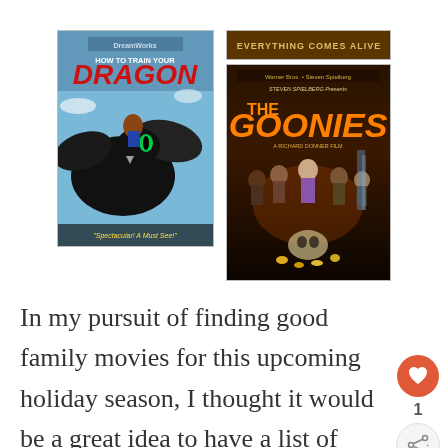[Figure (photo): Two movie DVD covers side by side. Left: 'How to Train Your Dragon' (DreamWorks) showing a dragon and a boy, with the text 'Spectacular! A Must See!'. Right: 'The Goonies' showing a group of kids in a cave with treasure, with a partial top bar of another movie cover above it.]
In my pursuit of finding good family movies for this upcoming holiday season, I thought it would be a great idea to have a list of